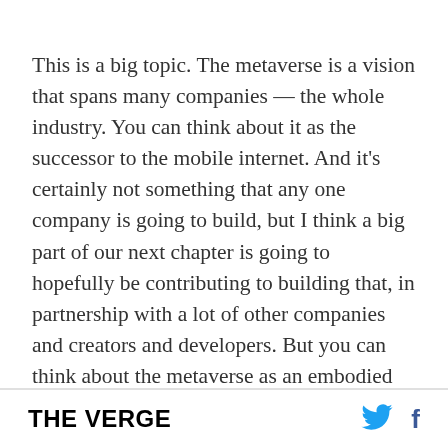This is a big topic. The metaverse is a vision that spans many companies — the whole industry. You can think about it as the successor to the mobile internet. And it's certainly not something that any one company is going to build, but I think a big part of our next chapter is going to hopefully be contributing to building that, in partnership with a lot of other companies and creators and developers. But you can think about the metaverse as an embodied internet, where instead of just viewing content — you are in it. And you feel present with other people as if you were in other places, having different experiences that you couldn't necessarily
THE VERGE